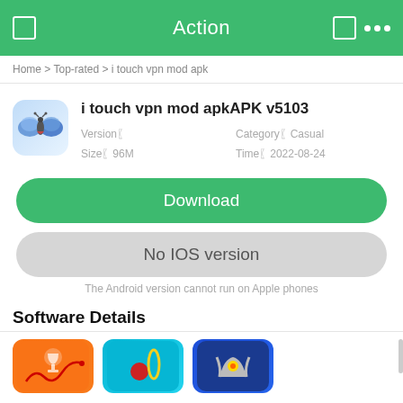Action
Home > Top-rated > i touch vpn mod apk
i touch vpn mod apkAPK v5103
Version【  Category【Casual  Size【96M  Time【2022-08-24
Download
No IOS version
The Android version cannot run on Apple phones
Software Details
[Figure (screenshot): Three app thumbnails at bottom of page: orange app icon, teal app icon, blue app icon]